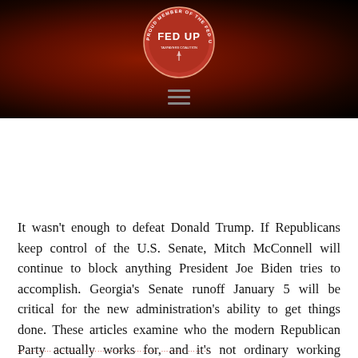[Figure (logo): FED UP circular logo badge in red/orange with text 'PROUD MEMBER OF THE FED UP TAXPAYERS COALITION' around the rim and 'FED UP' prominently in the center]
It wasn't enough to defeat Donald Trump. If Republicans keep control of the U.S. Senate, Mitch McConnell will continue to block anything President Joe Biden tries to accomplish. Georgia's Senate runoff January 5 will be critical for the new administration's ability to get things done. These articles examine who the modern Republican Party actually works for, and it's not ordinary working Americans.
… ……… ……… ……… ……… ……… ………